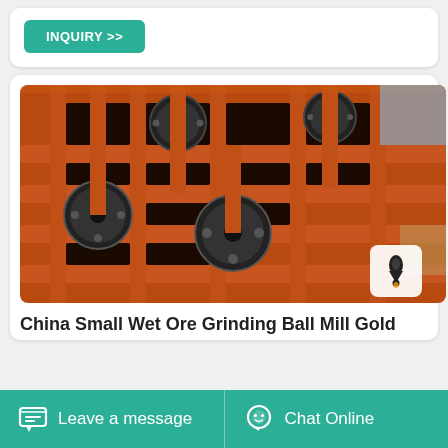[Figure (other): Teal/green INQUIRY >> button on white card background]
[Figure (photo): Multiple orange/red-painted industrial ball mill grinder machines arranged in rows on a factory floor, viewed from above at an angle]
China Small Wet Ore Grinding Ball Mill Gold
Leave a message
Chat Online